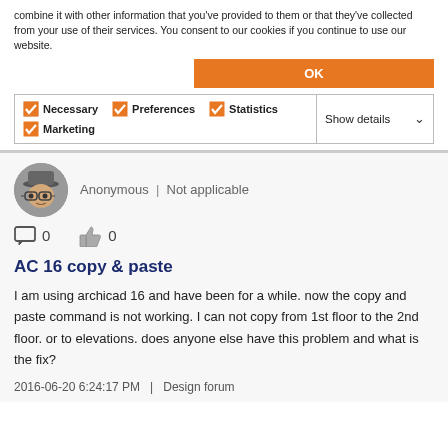combine it with other information that you've provided to them or that they've collected from your use of their services. You consent to our cookies if you continue to use our website.
[Figure (other): Orange OK button for cookie consent]
[Figure (other): Cookie consent checkboxes: Necessary, Preferences, Statistics, Marketing checked; Show details dropdown]
[Figure (other): Anonymous user avatar - illustrated character with hat and glasses]
Anonymous | Not applicable
0  0
AC 16 copy & paste
I am using archicad 16 and have been for a while. now the copy and paste command is not working. I can not copy from 1st floor to the 2nd floor. or to elevations. does anyone else have this problem and what is the fix?
2016-06-20 6:24:17 PM   |   Design forum